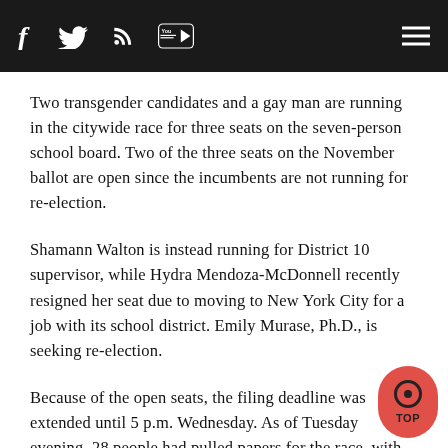Social media navigation bar with Facebook, Twitter, RSS, YouTube icons and hamburger menu
Two transgender candidates and a gay man are running in the citywide race for three seats on the seven-person school board. Two of the three seats on the November ballot are open since the incumbents are not running for re-election.
Shamann Walton is instead running for District 10 supervisor, while Hydra Mendoza-McDonnell recently resigned her seat due to moving to New York City for a job with its school district. Emily Murase, Ph.D., is seeking re-election.
Because of the open seats, the filing deadline was extended until 5 p.m. Wednesday. As of Tuesday evening, 28 people had pulled papers for the race, with 14 qualified